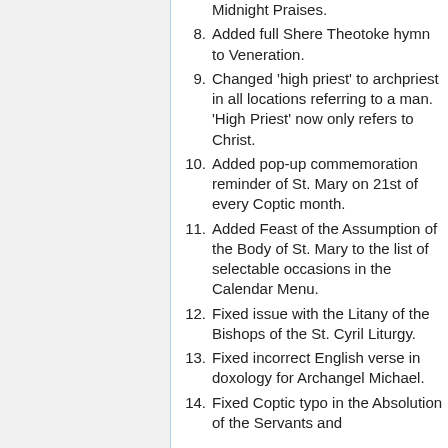Midnight Praises.
Added full Shere Theotoke hymn to Veneration.
Changed 'high priest' to archpriest in all locations referring to a man. 'High Priest' now only refers to Christ.
Added pop-up commemoration reminder of St. Mary on 21st of every Coptic month.
Added Feast of the Assumption of the Body of St. Mary to the list of selectable occasions in the Calendar Menu.
Fixed issue with the Litany of the Bishops of the St. Cyril Liturgy.
Fixed incorrect English verse in doxology for Archangel Michael.
Fixed Coptic typo in the Absolution of the Servants and